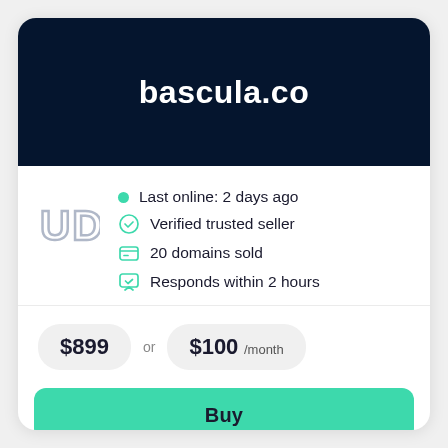bascula.co
Last online: 2 days ago
Verified trusted seller
20 domains sold
Responds within 2 hours
$899 or $100 /month
Buy